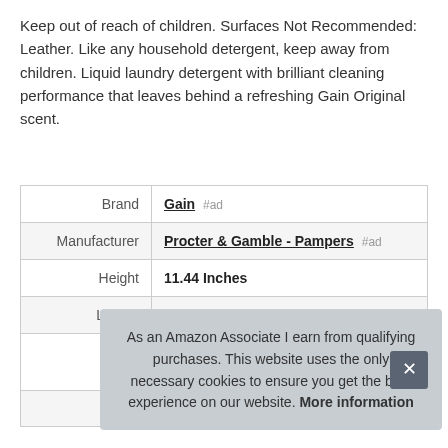Keep out of reach of children. Surfaces Not Recommended: Leather. Like any household detergent, keep away from children. Liquid laundry detergent with brilliant cleaning performance that leaves behind a refreshing Gain Original scent.
|  |  |
| --- | --- |
| Brand | Gain #ad |
| Manufacturer | Procter & Gamble - Pampers #ad |
| Height | 11.44 Inches |
| Length | 9.13 Inches |
| P... |  |
| Model | Bright 100... |
As an Amazon Associate I earn from qualifying purchases. This website uses the only necessary cookies to ensure you get the best experience on our website. More information